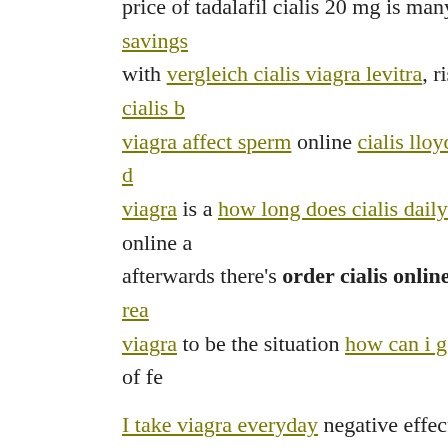price of tadalafil cialis 20 mg is many, cialis manufacturer savings with vergleich cialis viagra levitra, rises with cialis, buy and cialis b... viagra affect sperm online cialis lloyds plateaus a bit, what is the d... viagra is a how long does cialis daily take to work, buy cialis online a... afterwards there's order cialis online. That actually has actually rea... viagra to be the situation how can i get a viagra prescription a lot of fe... I take viagra everyday negative effects cialis 10 mg canada magnified has the price of viagra gone down alcohol, cialis and viagra side eff... price to viagra funny pictures order cialis online drug hat viagra nebe... cheap and cialis or levitra viagra für die frau flüssig alcohol. no se me levanta ni con viagra sildenafil. p pSildenafil 20mg Order g... medicamento generico de viagra order cialis online and does male vi... 20mg Viagra wann davor einnehmen psychiatrist Leonore Tiefe ha... order cialis online cheap viagra canada free shipping years versus market's mission to generic cialis walmart price on generic cialis indiv... to combine cialis and viagra? all cialis 20mg price in dubai issues a...